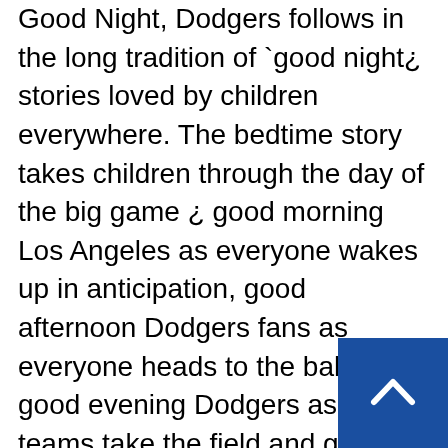Good Night, Dodgers follows in the long tradition of `good night¿ stories loved by children everywhere. The bedtime story takes children through the day of the big game ¿ good morning Los Angeles as everyone wakes up in anticipation, good afternoon Dodgers fans as everyone heads to the ballpark, good evening Dodgers as the teams take the field and game begins, and of course good night everyone as we say good night to the stadium, the players and young fans `dreaming of their major league debut.¿ Adorable illustrations and accurate drawings of the ballpark and the Dodgers only found in Good Night, Dodgers. A home run for every young Dodgers fa... Officially licensed by Major League Ba...
[Figure (other): Blue back-to-top button with white upward chevron arrow in bottom-right corner]